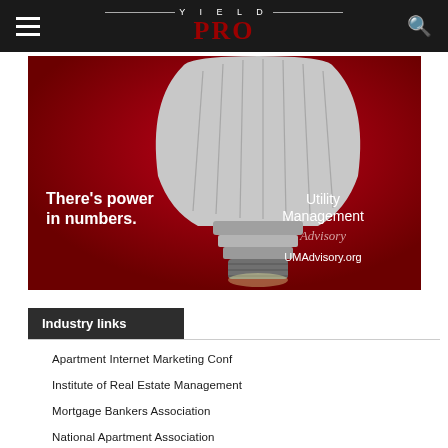YIELD PRO
[Figure (illustration): Advertisement for Utility Management Advisory showing an LED bulb on a red background with text: There's power in numbers. Utility Management Advisory. UMAdvisory.org]
Industry links
Apartment Internet Marketing Conf
Institute of Real Estate Management
Mortgage Bankers Association
National Apartment Association